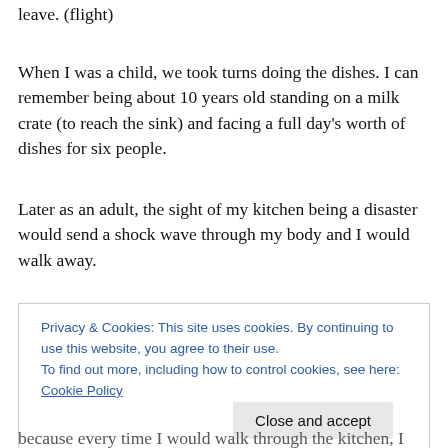leave. (flight)
When I was a child, we took turns doing the dishes. I can remember being about 10 years old standing on a milk crate (to reach the sink) and facing a full day's worth of dishes for six people.
Later as an adult, the sight of my kitchen being a disaster would send a shock wave through my body and I would walk away.
Privacy & Cookies: This site uses cookies. By continuing to use this website, you agree to their use.
To find out more, including how to control cookies, see here: Cookie Policy
because every time I would walk through the kitchen, I